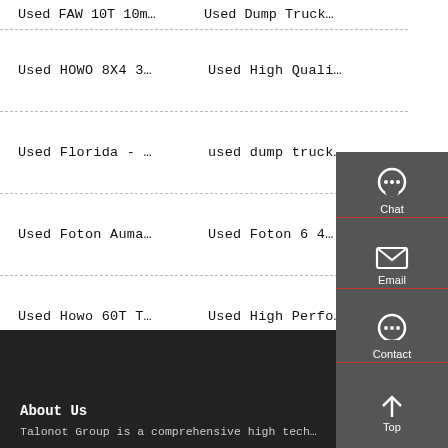Used FAW 10T 10m… | Used Dump Truck…
Used HOWO 8X4 3… | Used High Quali…
Used Florida - … | used dump truck…
Used Foton Auma… | Used Foton 6 4…
Used Howo 60T T… | Used High Perfo…
[Figure (infographic): Right sidebar with chat, email, contact, and top navigation icons on dark grey background]
About Us
Talonot Group is a comprehensive high tech…